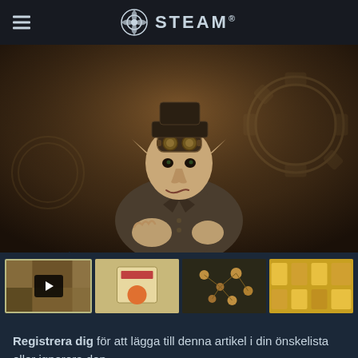STEAM®
[Figure (illustration): Steampunk goblin character illustration with goggles and jacket, holding cards, with gears in background]
[Figure (screenshot): Thumbnail strip showing 4 game screenshots, first one with play button overlay]
Registrera dig för att lägga till denna artikel i din önskelista eller ignorera den.